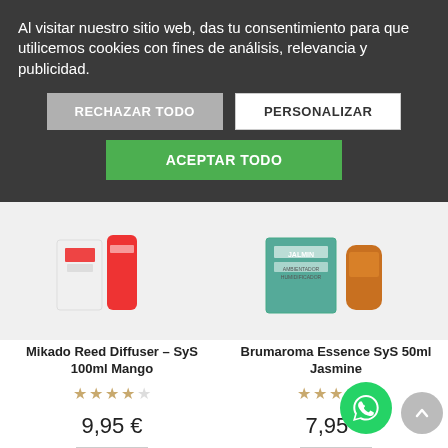Al visitar nuestro sitio web, das tu consentimiento para que utilicemos cookies con fines de análisis, relevancia y publicidad.
RECHAZAR TODO
PERSONALIZAR
ACEPTAR TODO
[Figure (photo): Partial view of two product images: Mikado Reed Diffuser bottles (red/white) on the left, and Brumaroma Essence bottles (green label, amber) on the right]
Mikado Reed Diffuser – SyS 100ml Mango
Brumaroma Essence SyS 50ml Jasmine
9,95 €
7,95 €
1
Add to cart
1
Add to cart